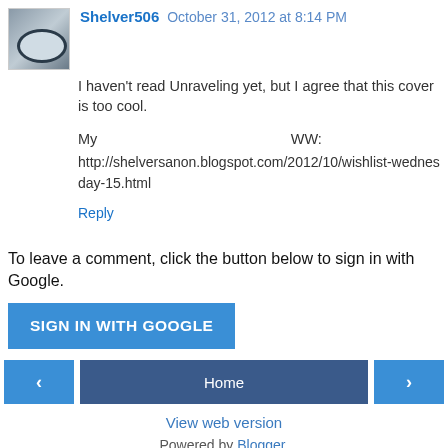Shelver506  October 31, 2012 at 8:14 PM
I haven't read Unraveling yet, but I agree that this cover is too cool.
My  WW: http://shelversanon.blogspot.com/2012/10/wishlist-wednesday-15.html
Reply
To leave a comment, click the button below to sign in with Google.
[Figure (other): SIGN IN WITH GOOGLE button (blue rectangle)]
[Figure (other): Navigation bar with left arrow, Home button, right arrow]
View web version
Powered by Blogger.